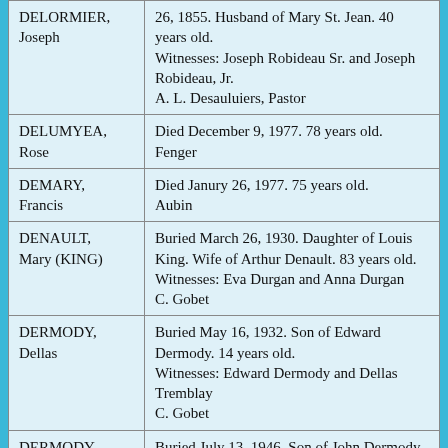| Name | Details |
| --- | --- |
| DELORMIER, Joseph | 26, 1855. Husband of Mary St. Jean. 40 years old.
Witnesses: Joseph Robideau Sr. and Joseph Robideau, Jr.
A. L. Desauluiers, Pastor |
| DELUMYEA, Rose | Died December 9, 1977. 78 years old.
Fenger |
| DEMARY, Francis | Died Janury 26, 1977. 75 years old.
Aubin |
| DENAULT, Mary (KING) | Buried March 26, 1930. Daughter of Louis King. Wife of Arthur Denault. 83 years old.
Witnesses: Eva Durgan and Anna Durgan
C. Gobet |
| DERMODY, Dellas | Buried May 16, 1932. Son of Edward Dermody. 14 years old.
Witnesses: Edward Dermody and Dellas Tremblay
C. Gobet |
| DERMODY, | Buried July 13, 1946. Son of John Dermody. Husband of Bridget White. 53 years old. |